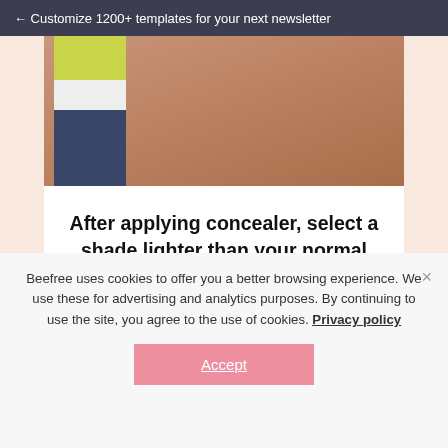← Customize 1200+ templates for your next newsletter
[Figure (photo): Partial image of a person wearing a striped sleeve (yellow, white, navy) against a warm skin-tone background]
After applying concealer, select a shade lighter than your normal Blur + Set shade and tap powder onto lid.
Beefree uses cookies to offer you a better browsing experience. We use these for advertising and analytics purposes. By continuing to use the site, you agree to the use of cookies. Privacy policy
Accept